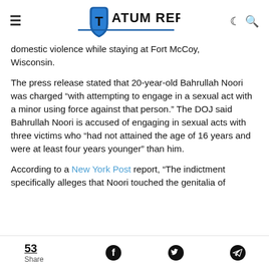Tatum Report
domestic violence while staying at Fort McCoy, Wisconsin.
The press release stated that 20-year-old Bahrullah Noori was charged “with attempting to engage in a sexual act with a minor using force against that person.” The DOJ said Bahrullah Noori is accused of engaging in sexual acts with three victims who “had not attained the age of 16 years and were at least four years younger” than him.
According to a New York Post report, “The indictment specifically alleges that Noori touched the genitalia of
53 Share